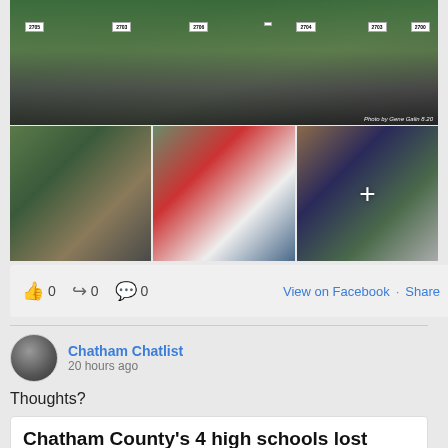[Figure (photo): Group photo of cross country runners in green uniforms with race bibs (2703, 2706, 2704, 2705, 2703, 2700, 2704) standing on a field. Photo credit: Gene Galin 8.20]
[Figure (photo): Three action photos of cross country runners racing on a muddy course]
0   0   0
View on Facebook · Share
Chatham Chatlist
20 hours ago
Thoughts?
Chatham County's 4 high schools lost week one football games by a combined score of